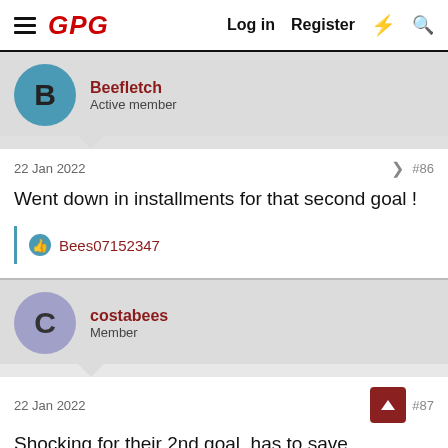GPG  Log in  Register
Beefletch
Active member
22 Jan 2022  #86
Went down in installments for that second goal !
Bees07152347
costabees
Member
22 Jan 2022  #87
Shocking for their 2nd goal, has to save that. We're in a hard situation where we have two inadequate backup keepers.